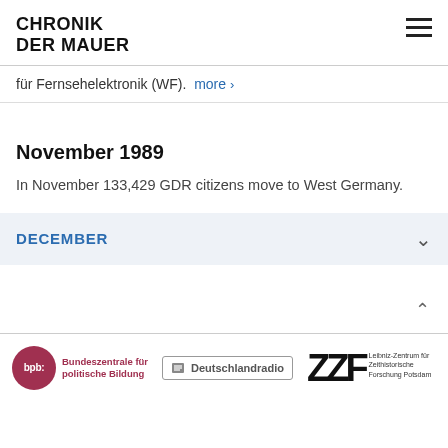CHRONIK DER MAUER
für Fernsehelektronik (WF).  more >
November 1989
In November 133,429 GDR citizens move to West Germany.
DECEMBER
bpb: Bundeszentrale für politische Bildung  |  Deutschlandradio  |  Leibniz-Zentrum für Zeithistorische Forschung Potsdam ZZF